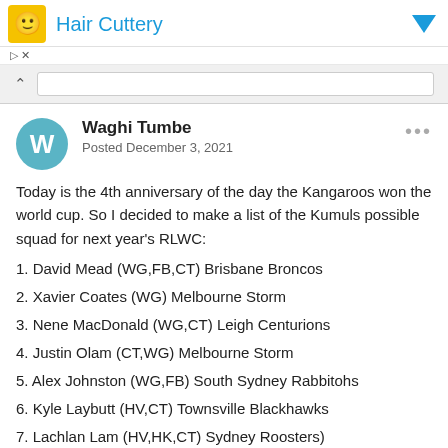[Figure (other): Hair Cuttery advertisement banner with yellow icon and blue text]
Waghi Tumbe
Posted December 3, 2021
Today is the 4th anniversary of the day the Kangaroos won the world cup. So I decided to make a list of the Kumuls possible squad for next year's RLWC:
1. David Mead (WG,FB,CT) Brisbane Broncos
2. Xavier Coates (WG) Melbourne Storm
3. Nene MacDonald (WG,CT) Leigh Centurions
4. Justin Olam (CT,WG) Melbourne Storm
5. Alex Johnston (WG,FB) South Sydney Rabbitohs
6. Kyle Laybutt (HV,CT) Townsville Blackhawks
7. Lachlan Lam (HV,HK,CT) Sydney Roosters)